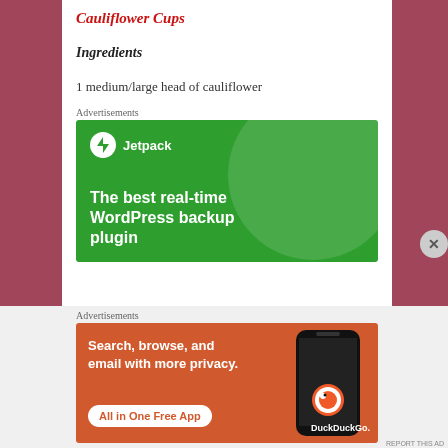Cauliflower Cups
Ingredients
1 medium/large head of cauliflower
Advertisements
[Figure (illustration): Jetpack advertisement: green background with circle graphic, Jetpack logo and text 'The best real-time WordPress backup plugin']
Advertisements
[Figure (illustration): DuckDuckGo advertisement: orange/brown background with phone graphic, text 'Search, browse, and email with more privacy. All in One Free App']